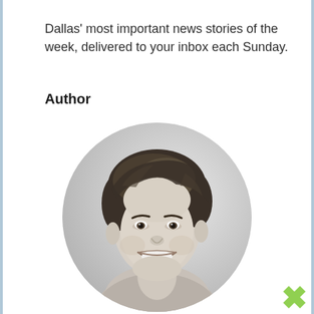Dallas' most important news stories of the week, delivered to your inbox each Sunday.
Author
[Figure (photo): Black and white circular headshot photo of a smiling young man with medium-length hair, wearing a collared shirt.]